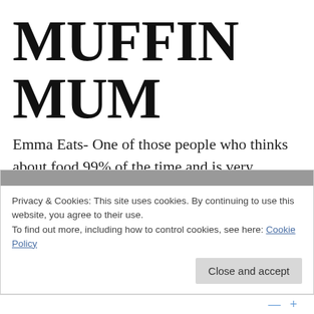MUFFIN MUM
Emma Eats- One of those people who thinks about food 99% of the time and is very passionate about Wellington.
Privacy & Cookies: This site uses cookies. By continuing to use this website, you agree to their use.
To find out more, including how to control cookies, see here: Cookie Policy